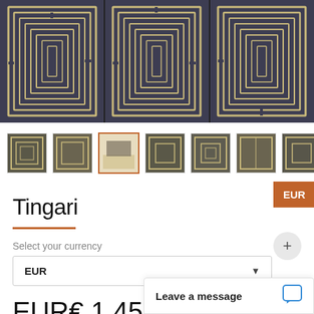[Figure (photo): Close-up of a decorative mosaic/textile artwork with repeating geometric labyrinthine patterns in cream/beige on dark grey/navy background, arranged in a grid of panels]
[Figure (photo): Row of 7 thumbnail images of the Tingari product showing different views and angles]
Tingari
Select your currency
EUR
EUR€ 1,450
Leave a message